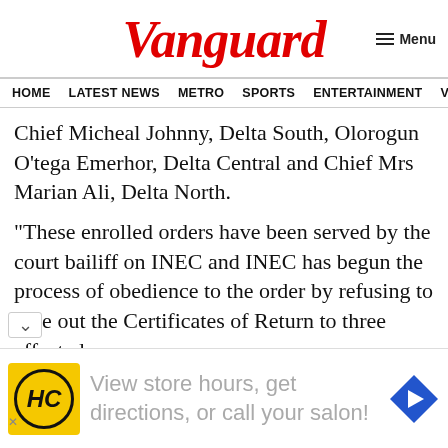Vanguard
Menu
HOME  LATEST NEWS  METRO  SPORTS  ENTERTAINMENT  VIDEOS
Chief Micheal Johnny, Delta South, Olorogun O'tega Emerhor, Delta Central and Chief Mrs Marian Ali, Delta North.
“These enrolled orders have been served by the court bailiff on INEC and INEC has begun the process of obedience to the order by refusing to give out the Certificates of Return to three affected assembly candidates of the Prophet Emue
[Figure (other): Advertisement banner: View store hours, get directions, or call your salon! with HC logo (yellow background) and blue navigation arrow icon]